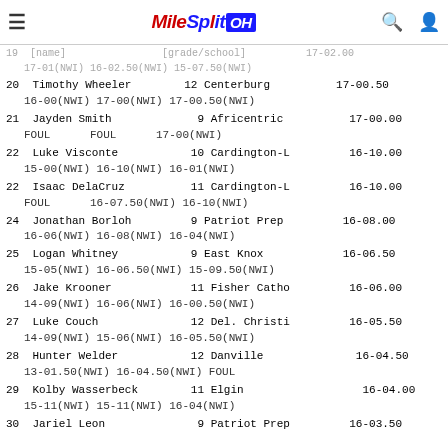MileSplit OH
19 [name faded] [grade/school faded] 17-02.00
    17-01(NWI) 16-02.50(NWI) 15-07.50(NWI)
20 Timothy Wheeler 12 Centerburg 17-00.50
    16-00(NWI) 17-00(NWI) 17-00.50(NWI)
21 Jayden Smith 9 Africentric 17-00.00
    FOUL FOUL 17-00(NWI)
22 Luke Visconte 10 Cardington-L 16-10.00
    15-00(NWI) 16-10(NWI) 16-01(NWI)
22 Isaac DelaCruz 11 Cardington-L 16-10.00
    FOUL 16-07.50(NWI) 16-10(NWI)
24 Jonathan Borloh 9 Patriot Prep 16-08.00
    16-06(NWI) 16-08(NWI) 16-04(NWI)
25 Logan Whitney 9 East Knox 16-06.50
    15-05(NWI) 16-06.50(NWI) 15-09.50(NWI)
26 Jake Krooner 11 Fisher Catho 16-06.00
    14-09(NWI) 16-06(NWI) 16-00.50(NWI)
27 Luke Couch 12 Del. Christi 16-05.50
    14-09(NWI) 15-06(NWI) 16-05.50(NWI)
28 Hunter Welder 12 Danville 16-04.50
    13-01.50(NWI) 16-04.50(NWI) FOUL
29 Kolby Wasserbeck 11 Elgin 16-04.00
    15-11(NWI) 15-11(NWI) 16-04(NWI)
30 Jariel Leon 9 Patriot Prep 16-03.50